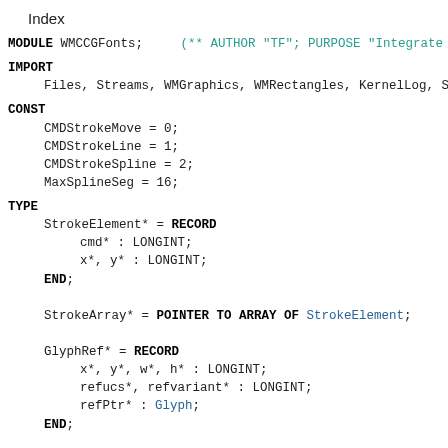Index
MODULE WMCCGFonts;   (** AUTHOR "TF"; PURPOSE "Integrate G
IMPORT
Files, Streams, WMGraphics, WMRectangles, KernelLog, Strings,
CONST
CMDStrokeMove = 0;
CMDStrokeLine = 1;
CMDStrokeSpline = 2;
MaxSplineSeg = 16;
TYPE
StrokeElement* = RECORD
    cmd* : LONGINT;
    x*, y* : LONGINT;
END;

StrokeArray* = POINTER TO ARRAY OF StrokeElement;

GlyphRef* = RECORD
    x*, y*, w*, h* : LONGINT;
    refucs*, refvariant* : LONGINT;
    refPtr* : Glyph;
END;

GlyphRefArray* = POINTER TO ARRAY OF GlyphRef;